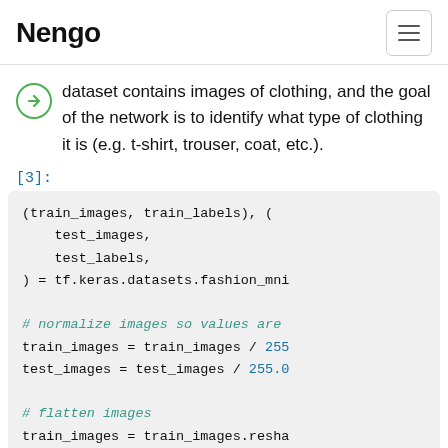Nengo
dataset contains images of clothing, and the goal of the network is to identify what type of clothing it is (e.g. t-shirt, trouser, coat, etc.).
[3]:
(train_images, train_labels), (
    test_images,
    test_labels,
) = tf.keras.datasets.fashion_mni

# normalize images so values are 
train_images = train_images / 255
test_images = test_images / 255.0

# flatten images
train_images = train_images.resha
test_images = test_images.reshape